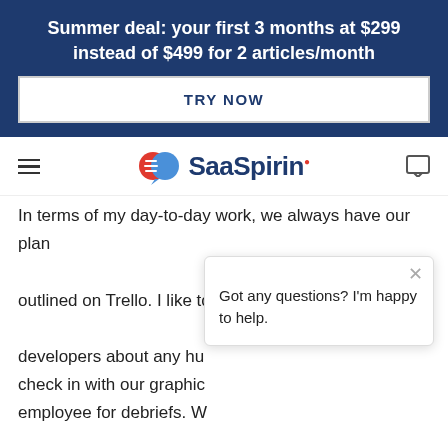Summer deal: your first 3 months at $299 instead of $499 for 2 articles/month
TRY NOW
[Figure (logo): SaaSpirin logo with speech bubble icon containing red and blue halves]
In terms of my day-to-day work, we always have our plan outlined on Trello. I like to check in with my two developers about any hu... check in with our graphic... employee for debriefs. W... knowledge base, where we can keep everything documented. We also use Ahrefs and SEOquake. I... I'd be able to get away from Excel, but it's actually been
Got any questions? I'm happy to help.